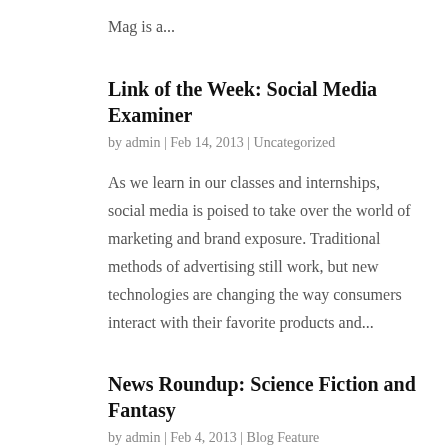Mag is a...
Link of the Week: Social Media Examiner
by admin | Feb 14, 2013 | Uncategorized
As we learn in our classes and internships, social media is poised to take over the world of marketing and brand exposure. Traditional methods of advertising still work, but new technologies are changing the way consumers interact with their favorite products and...
News Roundup: Science Fiction and Fantasy
by admin | Feb 4, 2013 | Blog Feature
This week we bring you a round-up of the most interesting news and resources for publishing in the science fiction and fantasy genres. Heroes like